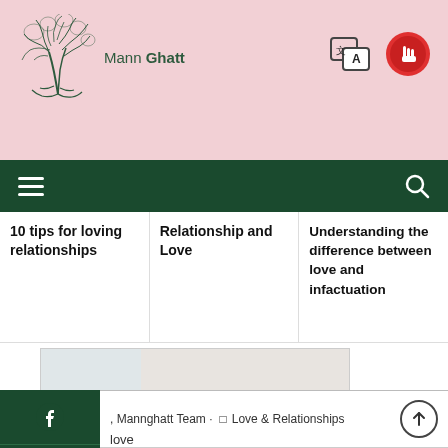[Figure (logo): Mann Ghatt logo with tree illustration and text]
[Figure (illustration): Translation/language icon]
[Figure (illustration): Red circular button with cursor icon]
[Figure (illustration): Hamburger menu icon (three horizontal lines)]
[Figure (illustration): Search magnifying glass icon]
10 tips for loving relationships
Relationship and Love
Understanding the difference between love and infactuation
[Figure (photo): Woman and child working together at a laptop]
ons to learn n a mother
[Figure (logo): Facebook icon]
[Figure (logo): Twitter icon]
[Figure (logo): Instagram icon]
[Figure (logo): YouTube icon]
, Mannghatt Team · Love & Relationships
love